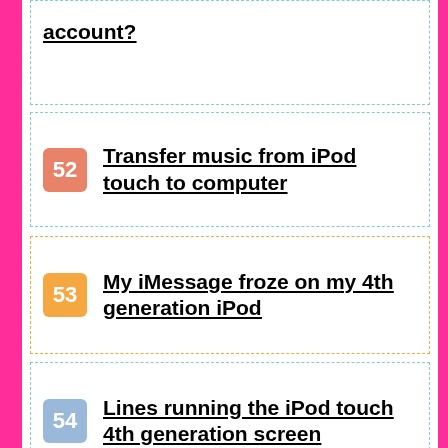account?
52 Transfer music from iPod touch to computer
53 My iMessage froze on my 4th generation iPod
54 Lines running the iPod touch 4th generation screen
55 RAM upgrade options for a first generation 15 “MacBook Pro